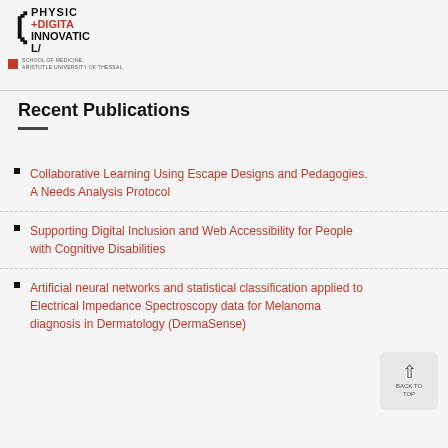[Figure (logo): Physical + Digital Innovation Lab logo with bracket symbol and School of Medicine Aristotle University of Thessal text]
Recent Publications
Collaborative Learning Using Escape Designs and Pedagogies. A Needs Analysis Protocol
Supporting Digital Inclusion and Web Accessibility for People with Cognitive Disabilities
Artificial neural networks and statistical classification applied to Electrical Impedance Spectroscopy data for Melanoma diagnosis in Dermatology (DermaSense)